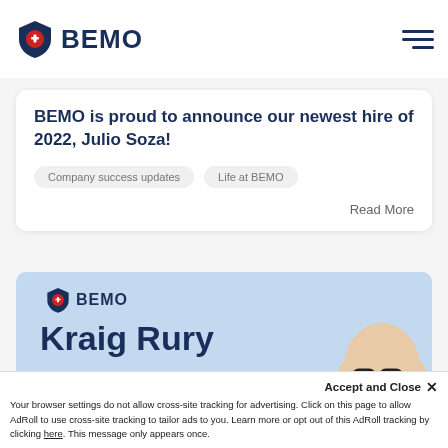BEMO
Mon, Jan 24, 2022
BEMO is proud to announce our newest hire of 2022, Julio Soza!
Company success updates
Life at BEMO
Read More
[Figure (infographic): BEMO branded card showing Kraig Rury, Principal Software Development Manager, with BEMO logo and a headshot photo on a light blue background]
Accept and Close ✕
Your browser settings do not allow cross-site tracking for advertising. Click on this page to allow AdRoll to use cross-site tracking to tailor ads to you. Learn more or opt out of this AdRoll tracking by clicking here. This message only appears once.